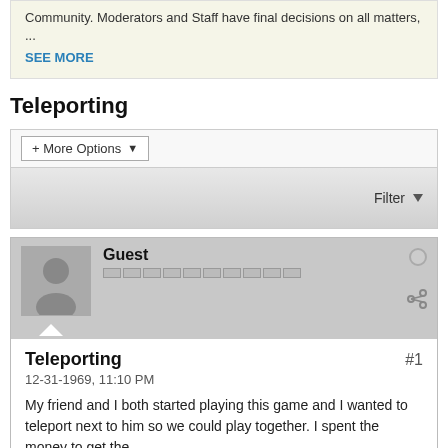Community. Moderators and Staff have final decisions on all matters, ...
SEE MORE
Teleporting
[Figure (screenshot): Forum filter/options bar with '+ More Options' dropdown button and 'Filter' dropdown on right]
[Figure (screenshot): Forum post header with guest avatar, username 'Guest', reputation bar, status dot (offline), and share icon]
Teleporting
12-31-1969, 11:10 PM
My friend and I both started playing this game and I wanted to teleport next to him so we could play together. I spent the money to get the